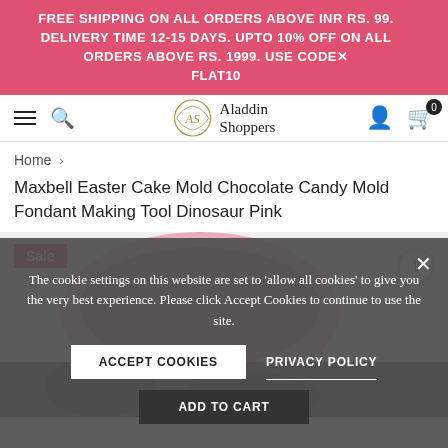FREE SHIPPING ON ALL ORDERS ABOVE INR RS. 99. DELIVERY TIME 12-15 DAYS. UPTO 10% OFF ON ALL ORDERS ABOVE RS. 1999. USE CODE FLAT10
[Figure (logo): Aladdin Shoppers logo with AS emblem]
Home > Maxbell Easter Cake Mold Chocolate Candy Mold Fondant Making Tool Dinosaur Pink
Maxbell Easter Cake Mold Chocolate Candy Mold Fondant Making Tool Dinosaur Pink
[Figure (photo): Pink dinosaur Easter cake mold product image with Sale badge]
The cookie settings on this website are set to 'allow all cookies' to give you the very best experience. Please click Accept Cookies to continue to use the site.
ACCEPT COOKIES    PRIVACY POLICY
ADD TO CART